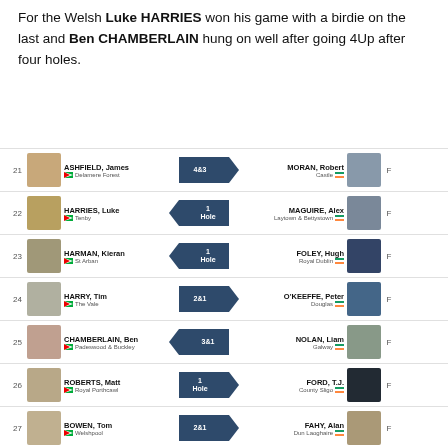For the Welsh Luke HARRIES won his game with a birdie on the last and Ben CHAMBERLAIN hung on well after going 4Up after four holes.
| # | Player (Left) | Score | Player (Right) | Result |
| --- | --- | --- | --- | --- |
| 21 | ASHFIELD, James / Delamere Forest | 4&3 → | MORAN, Robert / Castle | F |
| 22 | HARRIES, Luke / Tenby | ← 1 Hole | MAGUIRE, Alex / Laytown & Bettystown | F |
| 23 | HARMAN, Kieran / St Anban | ← 1 Hole | FOLEY, Hugh / Royal Dublin | F |
| 24 | HARRY, Tim / The Vale | 2&1 → | O'KEEFFE, Peter / Douglas | F |
| 25 | CHAMBERLAIN, Ben / Padeswood & Buckley | ← 3&1 | NOLAN, Liam / Galway | F |
| 26 | ROBERTS, Matt / Royal Porthcawl | 1 Hole → | FORD, T.J. / County Sligo | F |
| 27 | BOWEN, Tom / Welshpool | 2&1 → | FAHY, Alan / Dun Laoghaire | F |
| 28 | DAVIES, Jacob / Rhuddlan | 2 Holes → | BOUCHER, Marc / Carton House | F |
| 29 | GREVILLE, Aled / Ashburnham | 6&4 → | MCCLEAN, Matt / Malone | F |